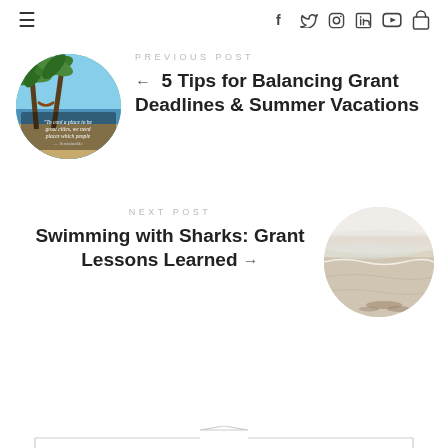≡  f  🐦  ◎  in  ▶  🛍
[Figure (photo): Circular thumbnail of a tropical beach scene with palm trees and ocean, with text overlay quoting something about places to be free]
PREVIOUS POST
← 5 Tips for Balancing Grant Deadlines & Summer Vacations
NEXT POST
Swimming with Sharks: Grant Lessons Learned →
[Figure (photo): Circular thumbnail of a sandy beach shoreline with ocean waves, light beige tones]